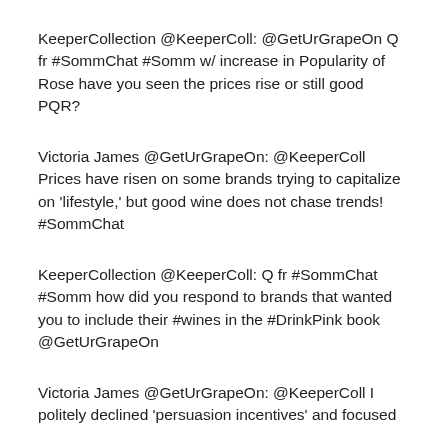KeeperCollection @KeeperColl: @GetUrGrapeOn Q fr #SommChat #Somm w/ increase in Popularity of Rose have you seen the prices rise or still good PQR?
Victoria James @GetUrGrapeOn: @KeeperColl Prices have risen on some brands trying to capitalize on 'lifestyle,' but good wine does not chase trends! #SommChat
KeeperCollection @KeeperColl: Q fr #SommChat #Somm how did you respond to brands that wanted you to include their #wines in the #DrinkPink book @GetUrGrapeOn
Victoria James @GetUrGrapeOn: @KeeperColl I politely declined 'persuasion incentives' and focused